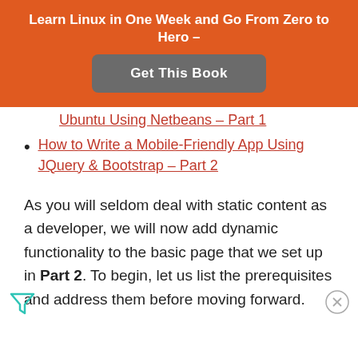Learn Linux in One Week and Go From Zero to Hero -
[Figure (other): Get This Book button in dark gray rounded rectangle]
Ubuntu Using Netbeans – Part 1
How to Write a Mobile-Friendly App Using JQuery & Bootstrap – Part 2
As you will seldom deal with static content as a developer, we will now add dynamic functionality to the basic page that we set up in Part 2. To begin, let us list the prerequisites and address them before moving forward.